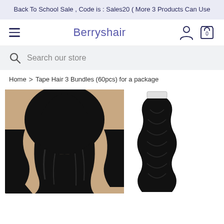Back To School Sale , Code is : Sales20 ( More 3 Products Can Use
[Figure (screenshot): Website navigation bar with hamburger menu, Berryshair logo in purple, user account icon and shopping cart icon with 0 items]
[Figure (screenshot): Search bar with magnifying glass icon and placeholder text 'Search our store']
Home > Tape Hair 3 Bundles (60pcs) for a package
[Figure (photo): Back view of a person with long black wavy hair extensions]
[Figure (photo): Close-up of a single black wavy tape hair extension weft strip]